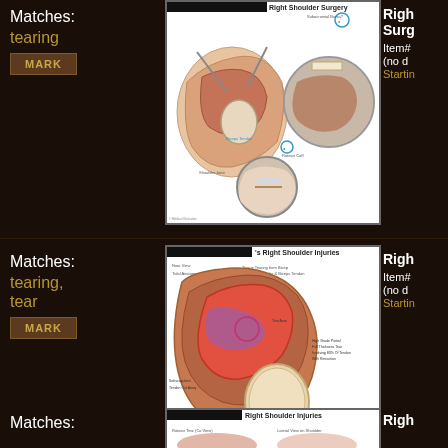Matches:
tearing
MARK
[Figure (illustration): Medical illustration of Right Shoulder Surgery showing anatomical cross-section with surgical instruments, endoscopic circle view, and zoomed detail circle. Redacted title bar at top left. Labels include Biceps Tendon, Rotator Cuff, Shoulder Joint.]
Right Shoulder Surgery
Item#
(no date)
Starting
Matches:
tearing,
tear
MARK
[Figure (illustration): Medical illustration titled '[Redacted]'s Right Shoulder Injuries' showing rotator cuff tear anatomy with main view showing subscapularis tendon, tear area, humeral head, and inset 'Top View' box showing supraspinatus and infraspinatus. Red circle highlights tear. Labels include high grade partial full thickness tear involving 80% of tendon with retraction.]
Right Shoulder Injuries
Item#
(no date)
Starting
Matches:
[Figure (illustration): Partial medical illustration titled '[Redacted] Right Shoulder Injuries' showing rotator tear co-view and lateral view on shoulder. Only top portion visible.]
Right